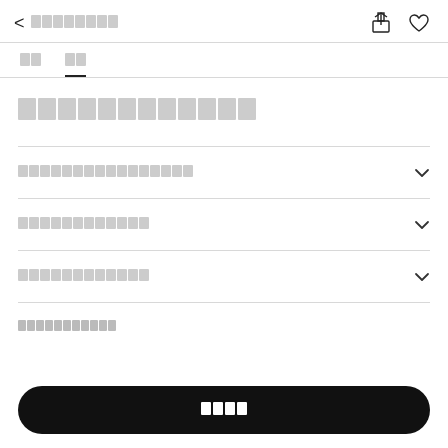< [redacted text]
[tab 1] [tab 2 active]
[redacted product title]
[accordion row 1] ∨
[accordion row 2] ∨
[accordion row 3] ∨
[accordion row 4 partial]
[button: add to cart]